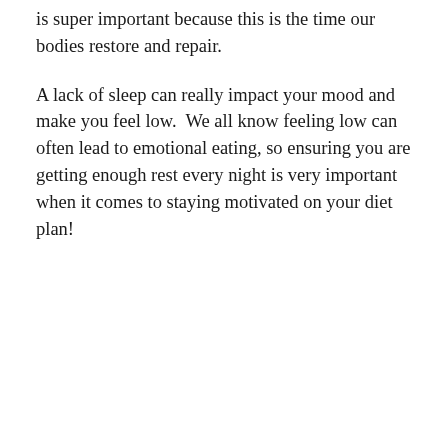is super important because this is the time our bodies restore and repair.
A lack of sleep can really impact your mood and make you feel low.  We all know feeling low can often lead to emotional eating, so ensuring you are getting enough rest every night is very important when it comes to staying motivated on your diet plan!